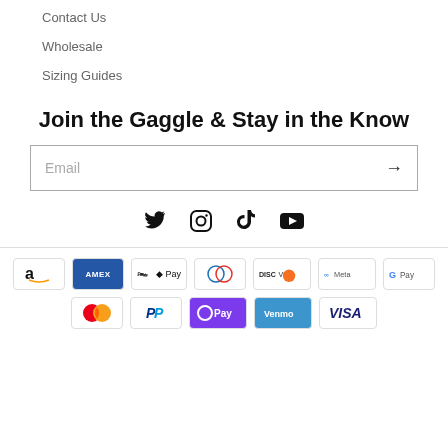Contact Us
Wholesale
Sizing Guides
Join the Gaggle & Stay in the Know
Email (input field with arrow)
[Figure (infographic): Social media icons: Twitter, Instagram, TikTok, YouTube]
[Figure (infographic): Payment method icons: Amazon, Amex, Apple Pay, Diners Club, Discover, Meta Pay, Google Pay, Mastercard, PayPal, OPay, Venmo, Visa]